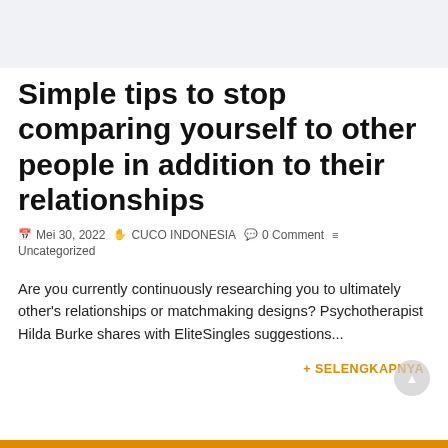[Figure (other): Light gray header banner area at top of page]
Simple tips to stop comparing yourself to other people in addition to their relationships
Mei 30, 2022  CUCO INDONESIA  0 Comment  Uncategorized
Are you currently continuously researching you to ultimately other's relationships or matchmaking designs? Psychotherapist Hilda Burke shares with EliteSingles suggestions...
+ SELENGKAPNYA